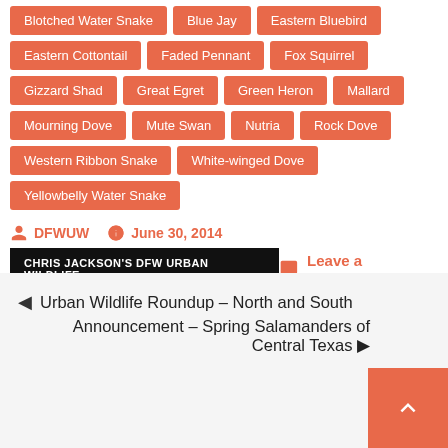Blotched Water Snake
Blue Jay
Eastern Bluebird
Eastern Cottontail
Faded Pennant
Fox Squirrel
Gizzard Shad
Great Egret
Green Heron
Mallard
Mourning Dove
Mute Swan
Nutria
Rock Dove
Western Ribbon Snake
White-winged Dove
Yellowbelly Water Snake
DFWUW   June 30, 2014
CHRIS JACKSON'S DFW URBAN WILDLIFE   Leave a Comment
Urban Wildlife Roundup – North and South
Announcement – Spring Salamanders of Central Texas